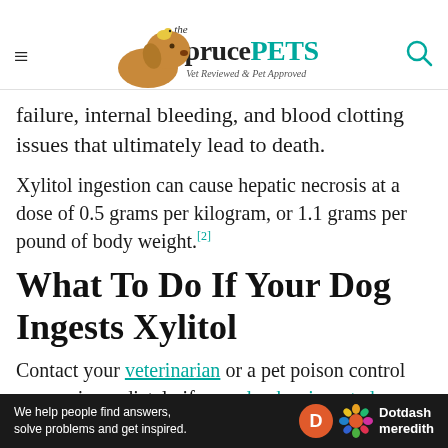the spruce PETS — Vet Reviewed & Pet Approved
failure, internal bleeding, and blood clotting issues that ultimately lead to death.
Xylitol ingestion can cause hepatic necrosis at a dose of 0.5 grams per kilogram, or 1.1 grams per pound of body weight.[2]
What To Do If Your Dog Ingests Xylitol
Contact your veterinarian or a pet poison control agency immediately if your dog has ingested a toxin like Xylitol. Keep the packaging
[Figure (other): Dotdash Meredith advertisement bar: 'We help people find answers, solve problems and get inspired.' with Dotdash Meredith logo]